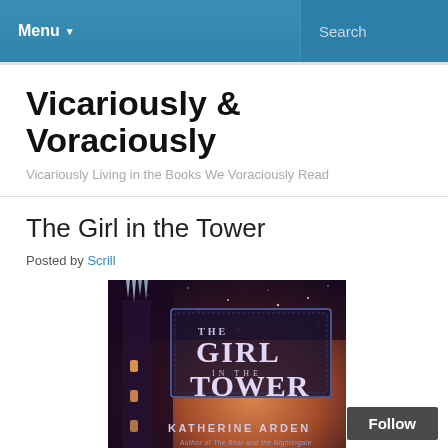Menu  Search
Vicariously & Voraciously
Vicariously Living in the Books We Voraciously Read
The Girl in the Tower
Posted by Scrill
[Figure (photo): Book cover of 'The Girl in the Tower' by Katherine Arden. Shows a dark fantasy winter scene with a tower. Title text reads 'THE GIRL IN THE TOWER' in an ornate box. Author name 'KATHERINE ARDEN' at bottom. Subtitle 'Author of The Bear and the Nightingale'.]
Follow